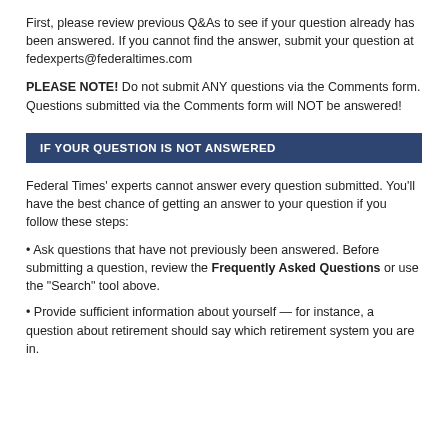First, please review previous Q&As to see if your question already has been answered. If you cannot find the answer, submit your question at fedexperts@federaltimes.com
PLEASE NOTE! Do not submit ANY questions via the Comments form. Questions submitted via the Comments form will NOT be answered!
IF YOUR QUESTION IS NOT ANSWERED
Federal Times' experts cannot answer every question submitted. You'll have the best chance of getting an answer to your question if you follow these steps:
• Ask questions that have not previously been answered. Before submitting a question, review the Frequently Asked Questions or use the "Search" tool above.
• Provide sufficient information about yourself — for instance, a question about retirement should say which retirement system you are in.